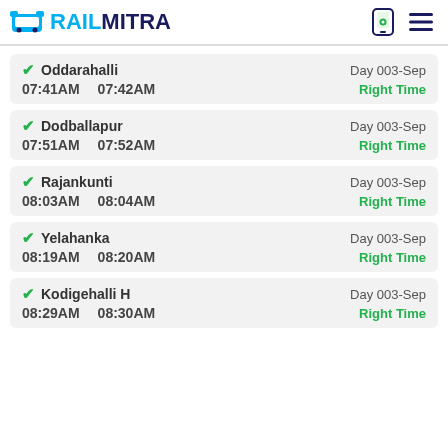RAILMITRA
Oddarahalli — Day 003-Sep — 07:41AM 07:42AM — Right Time
Dodballapur — Day 003-Sep — 07:51AM 07:52AM — Right Time
Rajankunti — Day 003-Sep — 08:03AM 08:04AM — Right Time
Yelahanka — Day 003-Sep — 08:19AM 08:20AM — Right Time
Kodigehalli H — Day 003-Sep — 08:29AM 08:30AM — Right Time